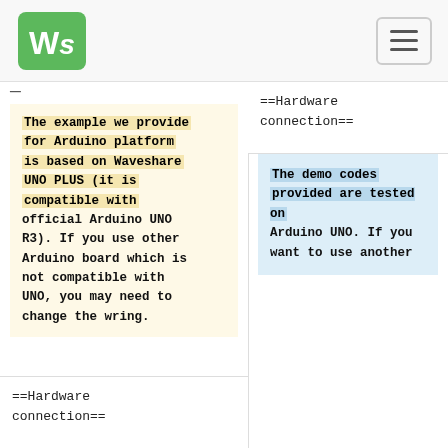Waveshare logo and navigation menu
The example we provide for Arduino platform is based on Waveshare UNO PLUS (it is compatible with official Arduino UNO R3). If you use other Arduino board which is not compatible with UNO, you may need to change the wring.
==Hardware connection==
==Hardware connection==
The demo codes provided are tested on Arduino UNO. If you want to use another